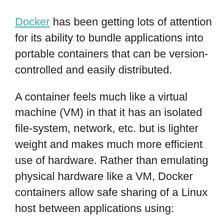Docker has been getting lots of attention for its ability to bundle applications into portable containers that can be version-controlled and easily distributed.
A container feels much like a virtual machine (VM) in that it has an isolated file-system, network, etc. but is lighter weight and makes much more efficient use of hardware. Rather than emulating physical hardware like a VM, Docker containers allow safe sharing of a Linux host between applications using:
kernel namespaces to keep applications